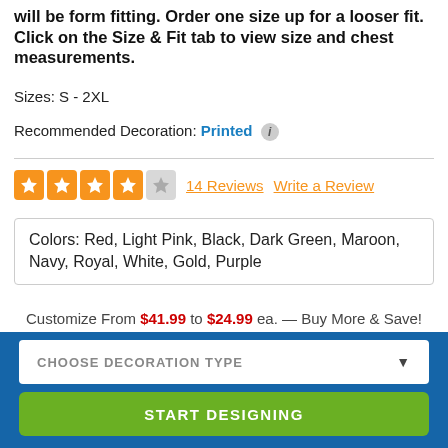will be form fitting. Order one size up for a looser fit. Click on the Size & Fit tab to view size and chest measurements.
Sizes: S - 2XL
Recommended Decoration: Printed
14 Reviews   Write a Review
Colors: Red, Light Pink, Black, Dark Green, Maroon, Navy, Royal, White, Gold, Purple
Customize From $41.99 to $24.99 ea. — Buy More & Save!
Colors: Red, Light Pink, Black, Dark Green, Maroon, Navy, Royal, White, Gold, Purple
CHOOSE DECORATION TYPE
START DESIGNING